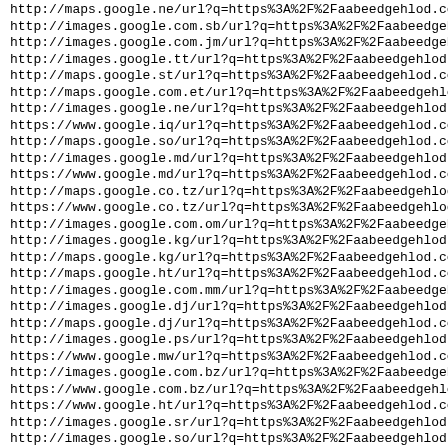http://maps.google.ne/url?q=https%3A%2F%2Faabeedgehlod.com%
http://images.google.com.sb/url?q=https%3A%2F%2Faabeedgehlod.
http://images.google.com.jm/url?q=https%3A%2F%2Faabeedgehlod.
http://images.google.tt/url?q=https%3A%2F%2Faabeedgehlod.co
http://maps.google.st/url?q=https%3A%2F%2Faabeedgehlod.com%
http://maps.google.com.et/url?q=https%3A%2F%2Faabeedgehlod.
http://images.google.ne/url?q=https%3A%2F%2Faabeedgehlod.co
https://www.google.iq/url?q=https%3A%2F%2Faabeedgehlod.com%
http://maps.google.so/url?q=https%3A%2F%2Faabeedgehlod.com%
http://images.google.md/url?q=https%3A%2F%2Faabeedgehlod.co
https://www.google.md/url?q=https%3A%2F%2Faabeedgehlod.com%
http://maps.google.co.tz/url?q=https%3A%2F%2Faabeedgehlod.c
https://www.google.co.tz/url?q=https%3A%2F%2Faabeedgehlod.c
http://images.google.com.om/url?q=https%3A%2F%2Faabeedgehlo
http://images.google.kg/url?q=https%3A%2F%2Faabeedgehlod.co
http://maps.google.kg/url?q=https%3A%2F%2Faabeedgehlod.com%
http://maps.google.ht/url?q=https%3A%2F%2Faabeedgehlod.com%
http://images.google.com.mm/url?q=https%3A%2F%2Faabeedgehlo
http://images.google.dj/url?q=https%3A%2F%2Faabeedgehlod.co
http://maps.google.dj/url?q=https%3A%2F%2Faabeedgehlod.com%
http://images.google.ps/url?q=https%3A%2F%2Faabeedgehlod.co
https://www.google.mw/url?q=https%3A%2F%2Faabeedgehlod.com%
http://images.google.com.bz/url?q=https%3A%2F%2Faabeedgehlo
https://www.google.com.bz/url?q=https%3A%2F%2Faabeedgehlod.
https://www.google.ht/url?q=https%3A%2F%2Faabeedgehlod.com%
http://images.google.sr/url?q=https%3A%2F%2Faabeedgehlod.co
http://images.google.so/url?q=https%3A%2F%2Faabeedgehlod.co
http://maps.google.la/url?q=https%3A%2F%2Faabeedgehlod.com%
http://maps.google.co.mz/url?q=https%3A%2F%2Faabeedgehlod.c
http://images.google.gy/url?q=https%3A%2F%2Faabeedgehlod.co